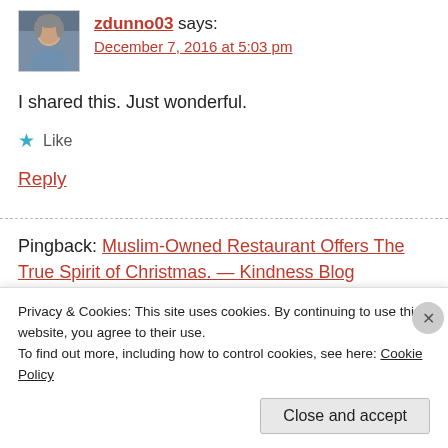zdunno03 says:
December 7, 2016 at 5:03 pm
I shared this. Just wonderful.
★ Like
Reply
Pingback: Muslim-Owned Restaurant Offers The True Spirit of Christmas. — Kindness Blog
Privacy & Cookies: This site uses cookies. By continuing to use this website, you agree to their use.
To find out more, including how to control cookies, see here: Cookie Policy
Close and accept